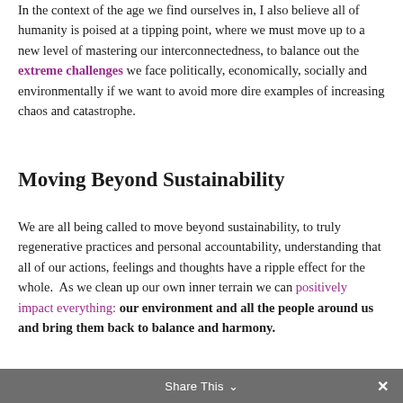In the context of the age we find ourselves in, I also believe all of humanity is poised at a tipping point, where we must move up to a new level of mastering our interconnectedness, to balance out the extreme challenges we face politically, economically, socially and environmentally if we want to avoid more dire examples of increasing chaos and catastrophe.
Moving Beyond Sustainability
We are all being called to move beyond sustainability, to truly regenerative practices and personal accountability, understanding that all of our actions, feelings and thoughts have a ripple effect for the whole.  As we clean up our own inner terrain we can positively impact everything: our environment and all the people around us and bring them back to balance and harmony.
Share This ∨  ✕